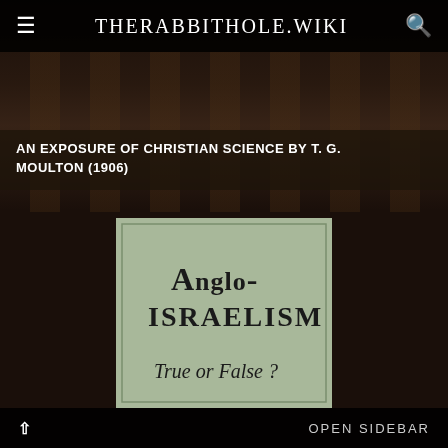THERABBITHOLE.WIKI
AN EXPOSURE OF CHRISTIAN SCIENCE BY T. G. MOULTON (1906)
[Figure (illustration): Book cover with sage green background showing the title 'Anglo-Israelism' in large serif font and subtitle 'True or False?' in italic serif font]
OPEN SIDEBAR